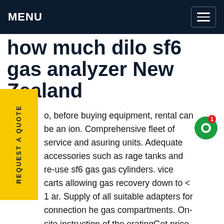MENU
how much dilo sf6 gas analyzer New Zealand
o, before buying equipment, rental can be an ion. Comprehensive fleet of service and asuring units. Adequate accessories such as rage tanks and re-use sf6 gas gas cylinders. vice carts allowing gas recovery down to < 1 ar. Supply of all suitable adapters for connection he gas compartments. On-site instruction of the eratingGet price
[Figure (photo): Photo of industrial crane and electrical transmission tower infrastructure against a blue sky background]